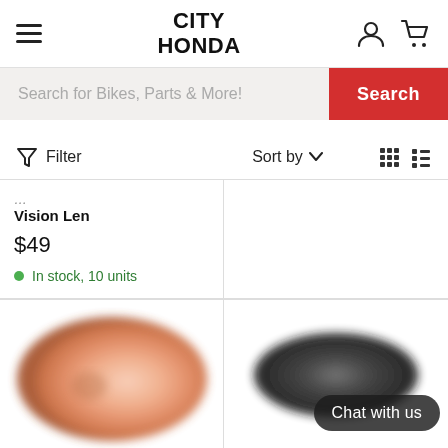CITY HONDA
Search for Bikes, Parts & More!
Filter   Sort by   [grid view] [list view]
Vision Len
$49
In stock, 10 units
[Figure (photo): Blurred motocross goggle lens with orange/peach tint, viewed from the front]
[Figure (photo): Dark goggle with Chat with us button overlay]